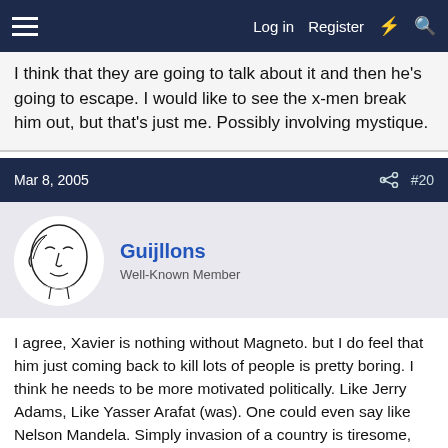Log in   Register
I think that they are going to talk about it and then he's going to escape. I would like to see the x-men break him out, but that's just me. Possibly involving mystique.
Mar 8, 2005   #20
Guijllons
Well-Known Member
I agree, Xavier is nothing without Magneto. but I do feel that him just coming back to kill lots of people is pretty boring. I think he needs to be more motivated politically. Like Jerry Adams, Like Yasser Arafat (was). One could even say like Nelson Mandela. Simply invasion of a country is tiresome, we see it on the news every day, an overwhelming force sweeping in and killing everyone. Every country with any power has done it in its past, and to reduce Magento to a 'mere' terrorist again is not exploring this complex character fully.